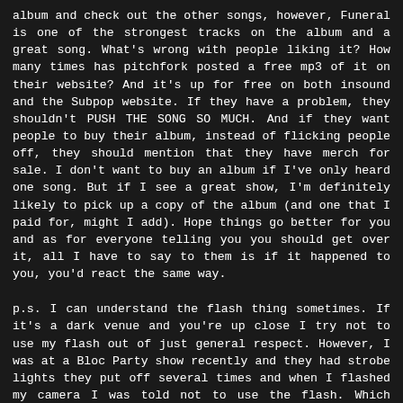album and check out the other songs, however, Funeral is one of the strongest tracks on the album and a great song. What's wrong with people liking it? How many times has pitchfork posted a free mp3 of it on their website? And it's up for free on both insound and the Subpop website. If they have a problem, they shouldn't PUSH THE SONG SO MUCH. And if they want people to buy their album, instead of flicking people off, they should mention that they have merch for sale. I don't want to buy an album if I've only heard one song. But if I see a great show, I'm definitely likely to pick up a copy of the album (and one that I paid for, might I add). Hope things go better for you and as for everyone telling you you should get over it, all I have to say to them is if it happened to you, you'd react the same way.
p.s. I can understand the flash thing sometimes. If it's a dark venue and you're up close I try not to use my flash out of just general respect. However, I was at a Bloc Party show recently and they had strobe lights they put off several times and when I flashed my camera I was told not to use the flash. Which befuddles me? If a band can use strobe lights (which are a nice feature) why can't I flash my camera for a fraction?